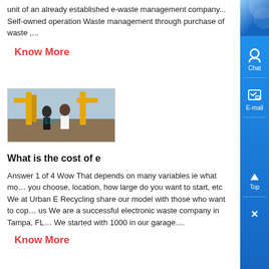unit of an already established e-waste management company... Self-owned operation Waste management through purchase of waste ,...
Know More
[Figure (photo): Two men standing in front of industrial yellow machinery/bridge structure outdoors, with 'ZENIT' watermark on the image.]
What is the cost of e
Answer 1 of 4 Wow That depends on many variables ie what model you choose, location, how large do you want to start, etc We at Urban E Recycling share our model with those who want to copy us We are a successful electronic waste company in Tampa, FL We started with 1000 in our garage....
Know More